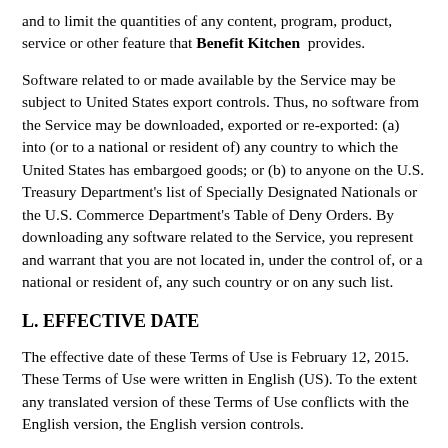and to limit the quantities of any content, program, product, service or other feature that Benefit Kitchen provides.
Software related to or made available by the Service may be subject to United States export controls. Thus, no software from the Service may be downloaded, exported or re-exported: (a) into (or to a national or resident of) any country to which the United States has embargoed goods; or (b) to anyone on the U.S. Treasury Department's list of Specially Designated Nationals or the U.S. Commerce Department's Table of Deny Orders. By downloading any software related to the Service, you represent and warrant that you are not located in, under the control of, or a national or resident of, any such country or on any such list.
L. EFFECTIVE DATE
The effective date of these Terms of Use is February 12, 2015. These Terms of Use were written in English (US). To the extent any translated version of these Terms of Use conflicts with the English version, the English version controls.